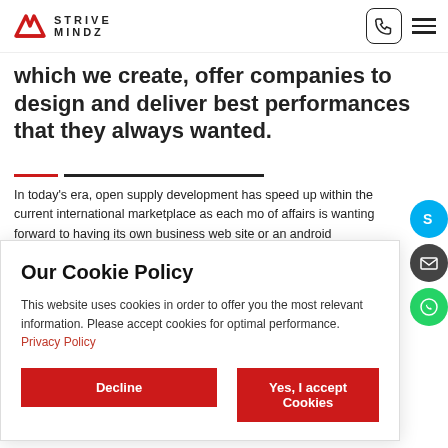Strive Mindz
which we create, offer companies to design and deliver best performances that they always wanted.
In today's era, open supply development has speed up within the current international marketplace as each mo of affairs is wanting forward to having its own business web site or an android application that will be developed in op
Our Cookie Policy
This website uses cookies in order to offer you the most relevant information. Please accept cookies for optimal performance. Privacy Policy
Decline
Yes, I accept Cookies